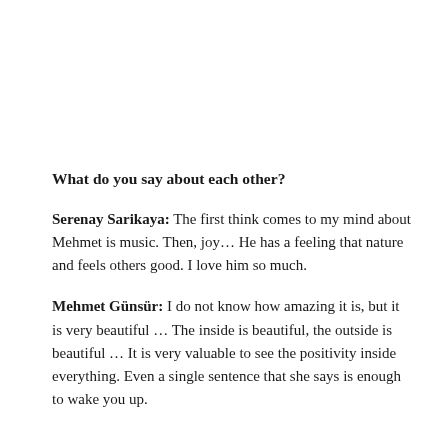What do you say about each other?
Serenay Sarikaya: The first think comes to my mind about Mehmet is music. Then, joy… He has a feeling that nature and feels others good. I love him so much.
Mehmet Günsür: I do not know how amazing it is, but it is very beautiful … The inside is beautiful, the outside is beautiful … It is very valuable to see the positivity inside everything. Even a single sentence that she says is enough to wake you up.